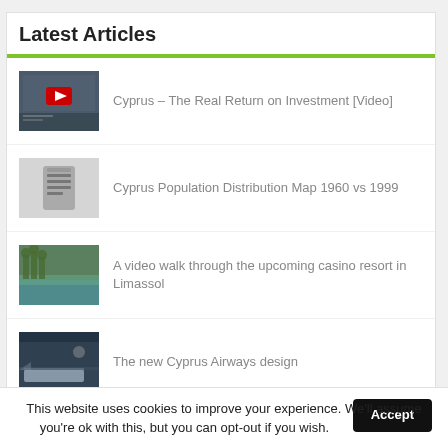Latest Articles
Cyprus – The Real Return on Investment [Video]
Cyprus Population Distribution Map 1960 vs 1999
A video walk through the upcoming casino resort in Limassol
The new Cyprus Airways design
Tension rises as British soldiers are surrounded by ...
This website uses cookies to improve your experience. We'll assume you're ok with this, but you can opt-out if you wish. Accept